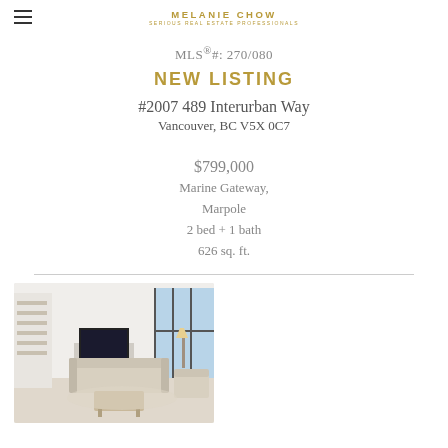MELANIE CHOW
SERIOUS REAL ESTATE PROFESSIONALS
MLS®#: 270/080
NEW LISTING
#2007 489 Interurban Way
Vancouver, BC V5X 0C7
$799,000
Marine Gateway,
Marpole
2 bed + 1 bath
626 sq. ft.
[Figure (photo): Interior photo of a modern living room with a TV, sofa, armchair, coffee table, bookshelf, and floor-to-ceiling windows]